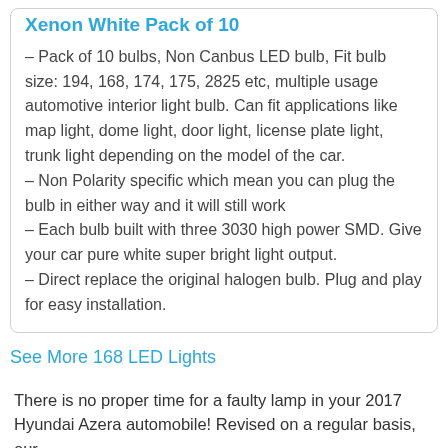Xenon White Pack of 10
– Pack of 10 bulbs, Non Canbus LED bulb, Fit bulb size: 194, 168, 174, 175, 2825 etc, multiple usage automotive interior light bulb. Can fit applications like map light, dome light, door light, license plate light, trunk light depending on the model of the car.
– Non Polarity specific which mean you can plug the bulb in either way and it will still work
– Each bulb built with three 3030 high power SMD. Give your car pure white super bright light output.
– Direct replace the original halogen bulb. Plug and play for easy installation.
See More 168 LED Lights
There is no proper time for a faulty lamp in your 2017 Hyundai Azera automobile! Revised on a regular basis, our